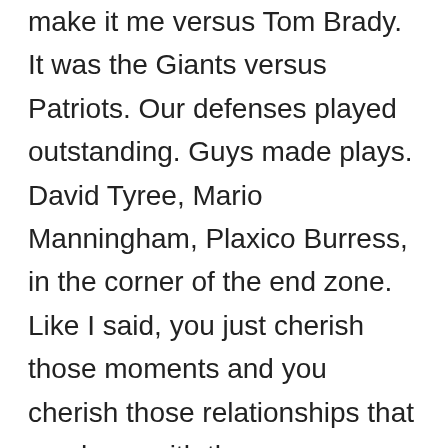make it me versus Tom Brady. It was the Giants versus Patriots. Our defenses played outstanding. Guys made plays. David Tyree, Mario Manningham, Plaxico Burress, in the corner of the end zone. Like I said, you just cherish those moments and you cherish those relationships that you have with those teammates and coaches when you win those games, and you know, those are -- that's obviously why you play for. You play for the opportunity to win a championship. You realize how hard it is and how difficult and all the breaks that have to go your way and that you got to